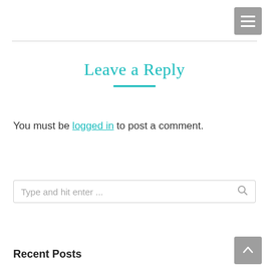[Figure (other): Hamburger menu button (gray square with three white horizontal lines) in top-right corner]
Leave a Reply
You must be logged in to post a comment.
[Figure (other): Search input box with placeholder text 'Type and hit enter ...' and a search icon on the right]
Recent Posts
[Figure (other): Scroll-to-top button (gray square with white upward arrow) in bottom-right corner]